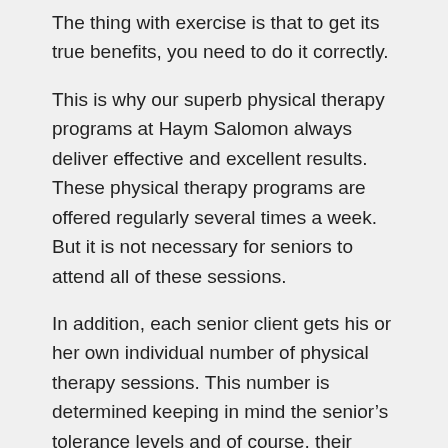The thing with exercise is that to get its true benefits, you need to do it correctly.
This is why our superb physical therapy programs at Haym Salomon always deliver effective and excellent results. These physical therapy programs are offered regularly several times a week. But it is not necessary for seniors to attend all of these sessions.
In addition, each senior client gets his or her own individual number of physical therapy sessions. This number is determined keeping in mind the senior's tolerance levels and of course, their present needs.
Other than having an excellent staff on site, the environment at Haym Salomon is excellent for seniors. Healthy, supportive and patient are just some of the